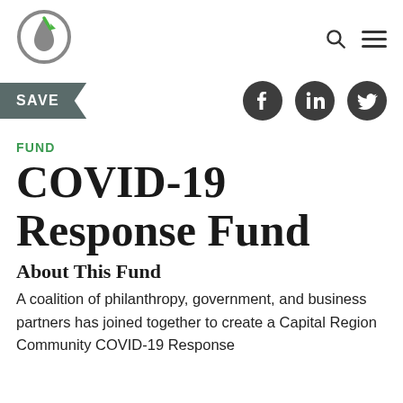[Figure (logo): Circular logo with green and gray leaf/water drop icon]
FUND
COVID-19 Response Fund
About This Fund
A coalition of philanthropy, government, and business partners has joined together to create a Capital Region Community COVID-19 Response